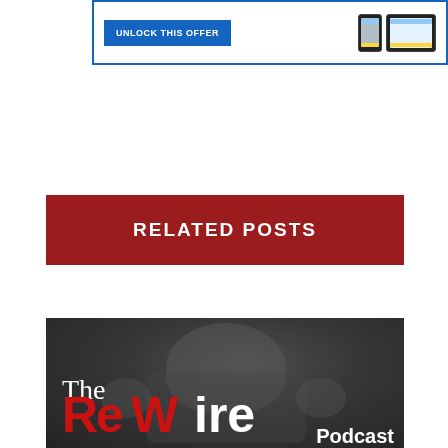[Figure (screenshot): Advertisement banner with blue border showing 'UNLOCK THIS OFFER' button and device images (phone and tablet)]
RELATED POSTS
[Figure (photo): The ReWire Podcast promotional image with a black and white photo of a man and large styled text reading 'The ReWire Podcast']